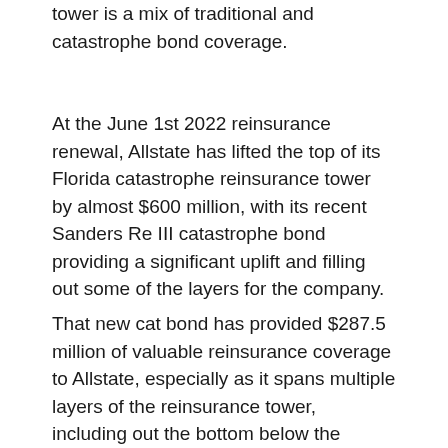tower is a mix of traditional and catastrophe bond coverage.
At the June 1st 2022 reinsurance renewal, Allstate has lifted the top of its Florida catastrophe reinsurance tower by almost $600 million, with its recent Sanders Re III catastrophe bond providing a significant uplift and filling out some of the layers for the company.
That new cat bond has provided $287.5 million of valuable reinsurance coverage to Allstate, especially as it spans multiple layers of the reinsurance tower, including out the bottom below the Florida Hurricane Catastrophe Fund layer for the insurer.